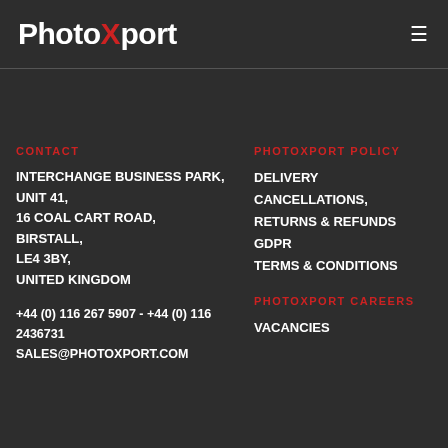PhotoXport
CONTACT
INTERCHANGE BUSINESS PARK,
UNIT 41,
16 COAL CART ROAD,
BIRSTALL,
LE4 3BY,
UNITED KINGDOM
+44 (0) 116 267 5907 - +44 (0) 116 2436731
SALES@PHOTOXPORT.COM
PHOTOXPORT POLICY
DELIVERY
CANCELLATIONS, RETURNS & REFUNDS
GDPR
TERMS & CONDITIONS
PHOTOXPORT CAREERS
VACANCIES